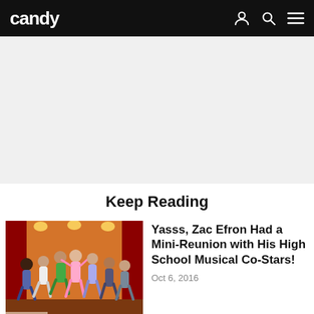candy
[Figure (other): Advertisement banner area, light gray background]
Keep Reading
[Figure (photo): Cast photo from High School Musical — group of young people jumping and cheering on a stage with red curtains and lights]
Yasss, Zac Efron Had a Mini-Reunion with His High School Musical Co-Stars!
Oct 6, 2016